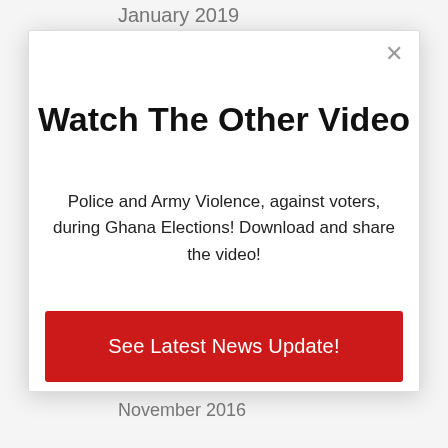January 2019
December 2018
[Figure (screenshot): A modal popup dialog with a close button (×), a bold title 'Watch The Other Video', body text about police and army violence during Ghana Elections, and a red call-to-action button labeled 'See Latest News Update!']
Watch The Other Video
Police and Army Violence, against voters, during Ghana Elections! Download and share the video!
See Latest News Update!
November 2016